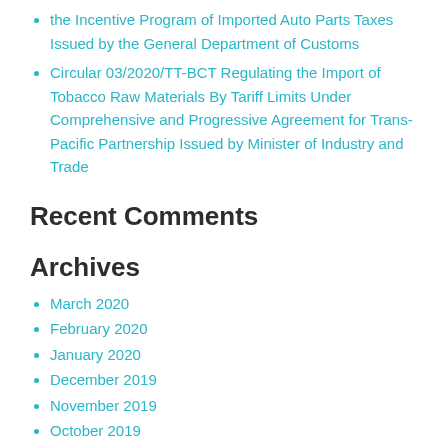the Incentive Program of Imported Auto Parts Taxes Issued by the General Department of Customs
Circular 03/2020/TT-BCT Regulating the Import of Tobacco Raw Materials By Tariff Limits Under Comprehensive and Progressive Agreement for Trans-Pacific Partnership Issued by Minister of Industry and Trade
Recent Comments
Archives
March 2020
February 2020
January 2020
December 2019
November 2019
October 2019
September 2019